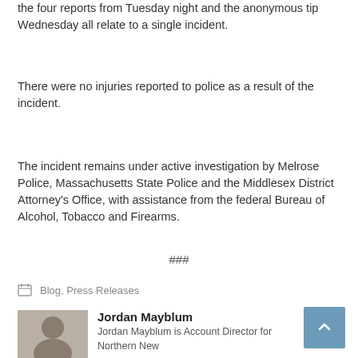the four reports from Tuesday night and the anonymous tip Wednesday all relate to a single incident.
There were no injuries reported to police as a result of the incident.
The incident remains under active investigation by Melrose Police, Massachusetts State Police and the Middlesex District Attorney's Office, with assistance from the federal Bureau of Alcohol, Tobacco and Firearms.
###
Blog, Press Releases
Jordan Mayblum
Jordan Mayblum is Account Director for Northern New